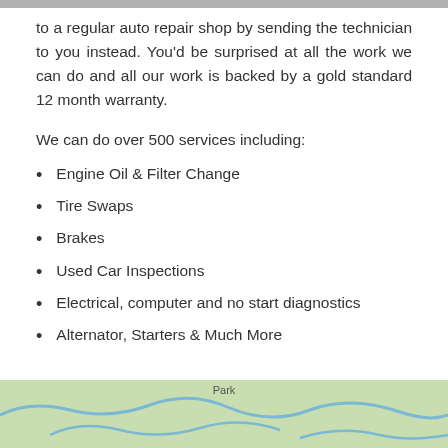to a regular auto repair shop by sending the technician to you instead. You'd be surprised at all the work we can do and all our work is backed by a gold standard 12 month warranty.
We can do over 500 services including:
Engine Oil & Filter Change
Tire Swaps
Brakes
Used Car Inspections
Electrical, computer and no start diagnostics
Alternator, Starters & Much More
[Figure (map): Map showing a park area with roads and water features]